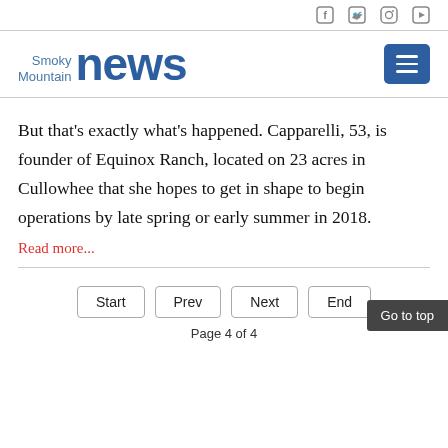Smoky Mountain news [with social icons: Facebook, Twitter, Instagram, YouTube]
But that’s exactly what’s happened. Capparelli, 53, is founder of Equinox Ranch, located on 23 acres in Cullowhee that she hopes to get in shape to begin operations by late spring or early summer in 2018.
Read more...
Start  Prev  Next  End  Go to top  Page 4 of 4